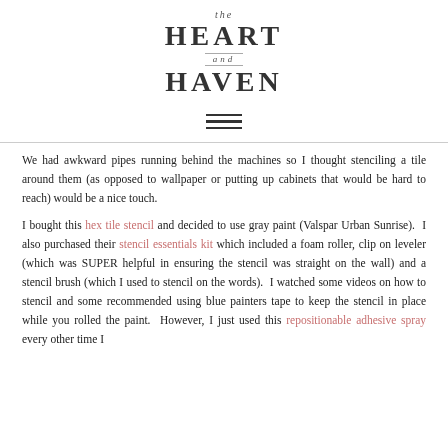the HEART and HAVEN
[Figure (other): Hamburger menu icon with three horizontal lines]
We had awkward pipes running behind the machines so I thought stenciling a tile around them (as opposed to wallpaper or putting up cabinets that would be hard to reach) would be a nice touch.
I bought this hex tile stencil and decided to use gray paint (Valspar Urban Sunrise).  I also purchased their stencil essentials kit which included a foam roller, clip on leveler (which was SUPER helpful in ensuring the stencil was straight on the wall) and a stencil brush (which I used to stencil on the words).  I watched some videos on how to stencil and some recommended using blue painters tape to keep the stencil in place while you rolled the paint.  However, I just used this repositionable adhesive spray every other time I